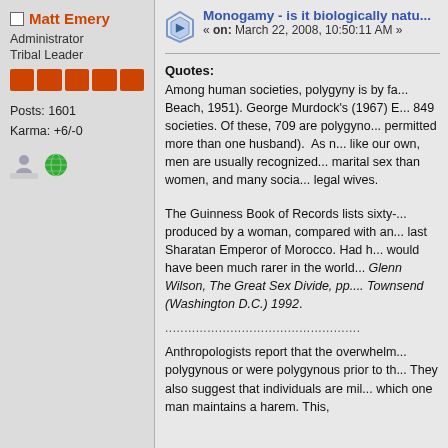Matt Emery
Administrator
Tribal Leader
Posts: 1601
Karma: +6/-0
Monogamy - is it biologically natu...
« on: March 22, 2008, 10:50:11 AM »
Quotes:
Among human societies, polygyny is by fa... Beach, 1951). George Murdock's (1967) E... 849 societies. Of these, 709 are polygyno... permitted more than one husband). As n... like our own, men are usually recognized... marital sex than women, and many socia... legal wives.
The Guinness Book of Records lists sixty-... produced by a woman, compared with an... last Sharatan Emperor of Morocco. Had h... would have been much rarer in the world... Glenn Wilson, The Great Sex Divide, pp.... Townsend (Washington D.C.) 1992.
...................................................
Anthropologists report that the overwhelm... polygynous or were polygynous prior to th... They also suggest that individuals are mil... which one man maintains a harem. This,